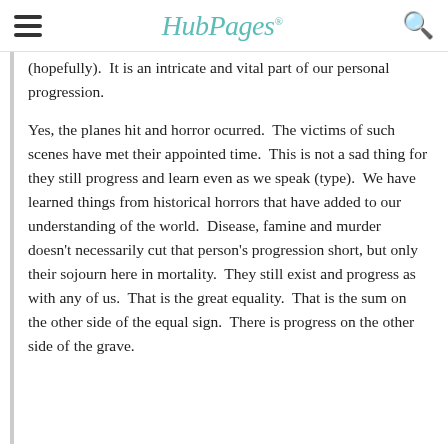HubPages
(hopefully).  It is an intricate and vital part of our personal progression.
Yes, the planes hit and horror ocurred.  The victims of such scenes have met their appointed time.  This is not a sad thing for they still progress and learn even as we speak (type).  We have learned things from historical horrors that have added to our understanding of the world.  Disease, famine and murder doesn't necessarily cut that person's progression short, but only their sojourn here in mortality.  They still exist and progress as with any of us.  That is the great equality.  That is the sum on the other side of the equal sign.  There is progress on the other side of the grave.